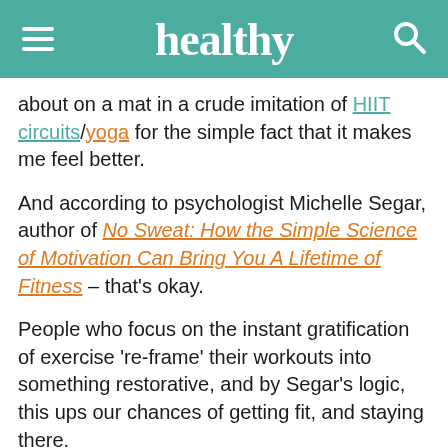healthy
about on a mat in a crude imitation of HIIT circuits/yoga for the simple fact that it makes me feel better.
And according to psychologist Michelle Segar, author of No Sweat: How the Simple Science of Motivation Can Bring You A Lifetime of Fitness – that's okay.
People who focus on the instant gratification of exercise 're-frame' their workouts into something restorative, and by Segar's logic, this ups our chances of getting fit, and staying there.
'Health is not an optimal way to make physical activity relevant and compelling enough for most people to prioritise in their hectic lives,' she writes. The science backs her up, with multiple studies showing that prescribing exercise to prevent disease, lose weight or 'sculpt' your body are unlikely to get people to start, let alone keep moving.